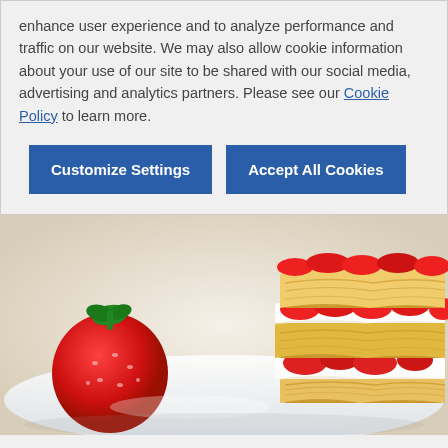enhance user experience and to analyze performance and traffic on our website. We may also allow cookie information about your use of our site to be shared with our social media, advertising and analytics partners. Please see our Cookie Policy to learn more.
[Figure (other): Two blue buttons: 'Customize Settings' and 'Accept All Cookies']
[Figure (photo): A close-up photograph of strawberry puff pastry stacks (mille-feuille style) filled with cream and sliced strawberries, with a whole fresh strawberry beside the plate, on a white plate.]
Strawberry Puff Stacks